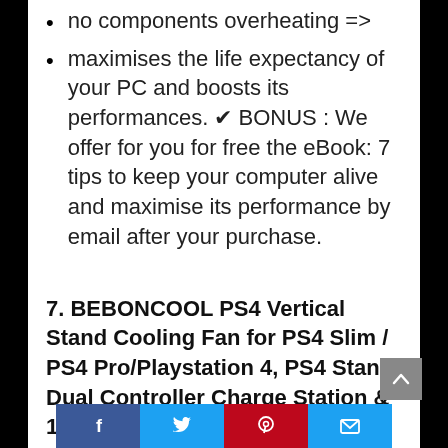no components overheating =&gt
maximises the life expectancy of your PC and boosts its performances. ✔ BONUS : We offer for you for free the eBook: 7 tips to keep your computer alive and maximise its performance by email after your purchase.
7. BEBONCOOL PS4 Vertical Stand Cooling Fan for PS4 Slim / PS4 Pro/Playstation 4, PS4 Stand Dual Controller Charge Station & 16
Facebook | Twitter | Pinterest | Email